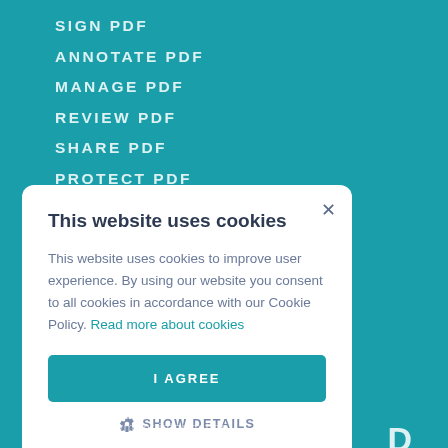SIGN PDF
ANNOTATE PDF
MANAGE PDF
REVIEW PDF
SHARE PDF
PROTECT PDF
This website uses cookies
This website uses cookies to improve user experience. By using our website you consent to all cookies in accordance with our Cookie Policy. Read more about cookies
I AGREE
SHOW DETAILS
secure payment information